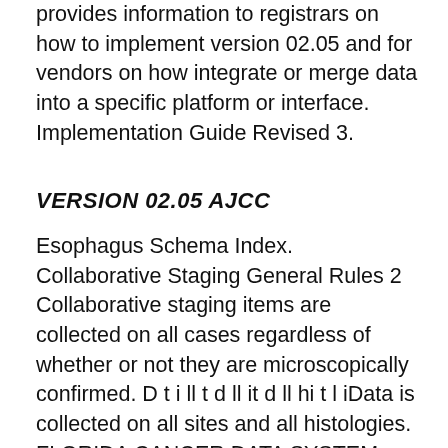provides information to registrars on how to implement version 02.05 and for vendors on how integrate or merge data into a specific platform or interface. Implementation Guide Revised 3.
VERSION 02.05 AJCC
Esophagus Schema Index. Collaborative Staging General Rules 2 Collaborative staging items are collected on all cases regardless of whether or not they are microscopically confirmed. D t i ll t d ll it d ll hi t l iData is collected on all sites and all histologies. FLORIDA CANCER DATA SYSTEM Collaborative Staging Overview. 3 The CS System schemas consist of 15 data fields necessary to derive 6th Edition TNM Stage and, B. Microscopic assessment of regional nodes if being performed as part of the treatment is